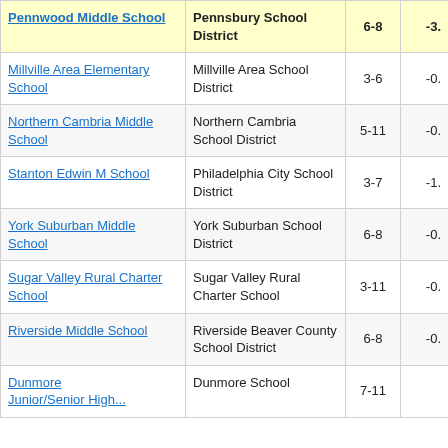| School | District | Grades | Score |
| --- | --- | --- | --- |
| Pennwood Middle School | Pennsbury School District | 6-8 | -3. |
| Millville Area Elementary School | Millville Area School District | 3-6 | -0. |
| Northern Cambria Middle School | Northern Cambria School District | 5-11 | -0. |
| Stanton Edwin M School | Philadelphia City School District | 3-7 | -1. |
| York Suburban Middle School | York Suburban School District | 6-8 | -0. |
| Sugar Valley Rural Charter School | Sugar Valley Rural Charter School | 3-11 | -0. |
| Riverside Middle School | Riverside Beaver County School District | 6-8 | -0. |
| Dunmore Junior/Senior High... | Dunmore School | 7-11 |  |